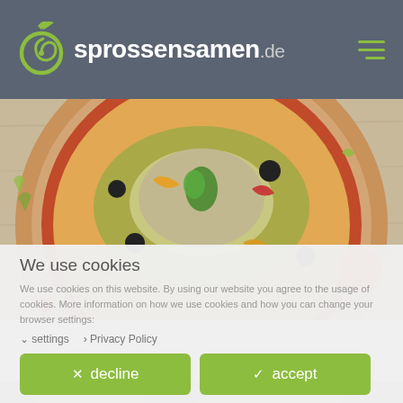sprossensamen.de
[Figure (photo): Overhead photo of a pizza topped with sprouts, microgreens, black olives, and vegetables on a light wooden surface with scattered sprouts and a halved tomato around it.]
We use cookies
We use cookies on this website. By using our website you agree to the usage of cookies. More information on how we use cookies and how you can change your browser settings:
settings   Privacy Policy
decline   accept
[Figure (photo): Partial bottom of another food photo visible at the very bottom of the page.]